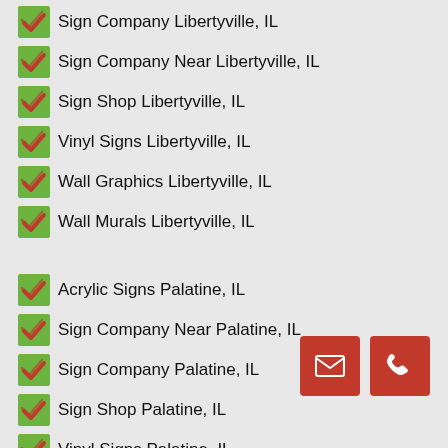Sign Company Libertyville, IL
Sign Company Near Libertyville, IL
Sign Shop Libertyville, IL
Vinyl Signs Libertyville, IL
Wall Graphics Libertyville, IL
Wall Murals Libertyville, IL
Acrylic Signs Palatine, IL
Sign Company Near Palatine, IL
Sign Company Palatine, IL
Sign Shop Palatine, IL
Vinyl Signs Palatine, IL
Wall Graphics Palatine, IL
Wall Murals Palatine, IL
[Figure (infographic): Two red square buttons at bottom right: an envelope/email icon and a phone icon]